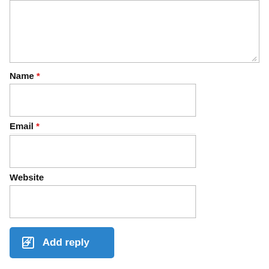[Figure (screenshot): Textarea input box (comment/reply text area) with resize handle at bottom right]
Name *
[Figure (screenshot): Name input field, empty text box]
Email *
[Figure (screenshot): Email input field, empty text box]
Website
[Figure (screenshot): Website input field, empty text box]
[Figure (screenshot): Blue 'Add reply' button with edit icon on the left]